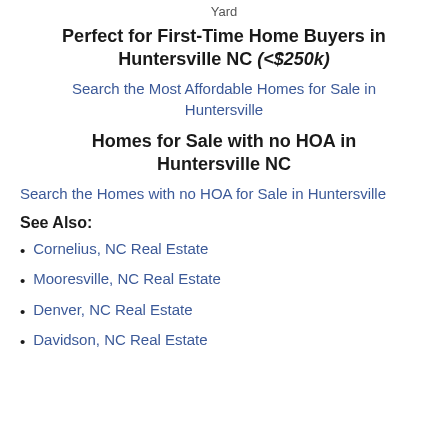Yard
Perfect for First-Time Home Buyers in Huntersville NC (<$250k)
Search the Most Affordable Homes for Sale in Huntersville
Homes for Sale with no HOA in Huntersville NC
Search the Homes with no HOA for Sale in Huntersville
See Also:
Cornelius, NC Real Estate
Mooresville, NC Real Estate
Denver, NC Real Estate
Davidson, NC Real Estate